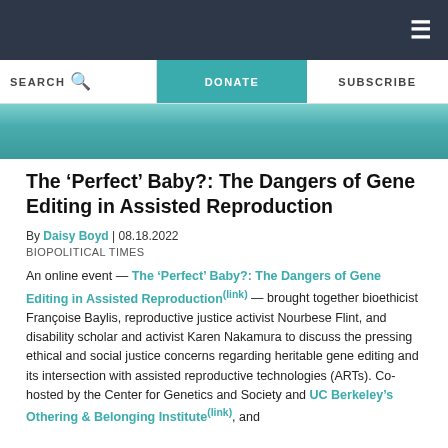≡
SEARCH  DONATE  SUBSCRIBE
[Figure (photo): Partial photo strip showing faces, teal/blue toned background]
The ‘Perfect’ Baby?: The Dangers of Gene Editing in Assisted Reproduction
By Daisy Boyd | 08.18.2022
BIOPOLITICAL TIMES
An online event — The ‘Perfect’ Baby?: The Dangers of Gene Editing in Assisted Reproduction(link) — brought together bioethicist Françoise Baylis, reproductive justice activist Nourbese Flint, and disability scholar and activist Karen Nakamura to discuss the pressing ethical and social justice concerns regarding heritable gene editing and its intersection with assisted reproductive technologies (ARTs). Co-hosted by the Center for Genetics and Society and UC Berkeley’s Othering & Belonging Institute(link), and